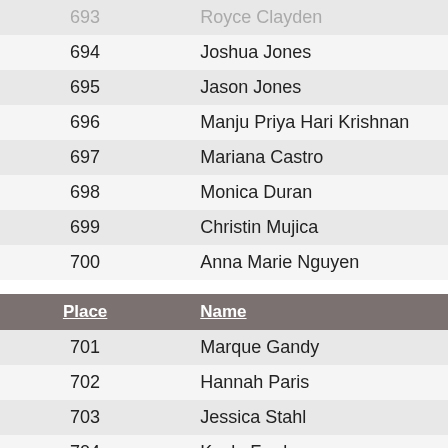| Place | Name |
| --- | --- |
| 693 | Royce Clayden |
| 694 | Joshua Jones |
| 695 | Jason Jones |
| 696 | Manju Priya Hari Krishnan |
| 697 | Mariana Castro |
| 698 | Monica Duran |
| 699 | Christin Mujica |
| 700 | Anna Marie Nguyen |
| Place | Name |
| --- | --- |
| 701 | Marque Gandy |
| 702 | Hannah Paris |
| 703 | Jessica Stahl |
| 704 | Kayla Ford |
| 705 | Khrystel Cavness |
| 706 | Liam Bunch |
| 707 | Danielle Woosley |
| 708 | Robert Otoshi |
| 709 | Sarah Bunch |